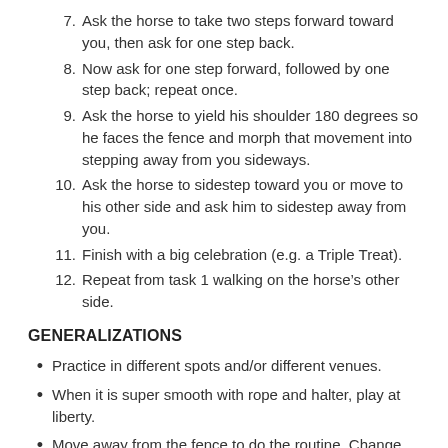7. Ask the horse to take two steps forward toward you, then ask for one step back.
8. Now ask for one step forward, followed by one step back; repeat once.
9. Ask the horse to yield his shoulder 180 degrees so he faces the fence and morph that movement into stepping away from you sideways.
10. Ask the horse to sidestep toward you or move to his other side and ask him to sidestep away from you.
11. Finish with a big celebration (e.g. a Triple Treat).
12. Repeat from task 1 walking on the horse’s other side.
GENERALIZATIONS
Practice in different spots and/or different venues.
When it is super smooth with rope and halter, play at liberty.
Move away from the fence to do the routine. Change task 6 to ask for a set number of back up steps or have